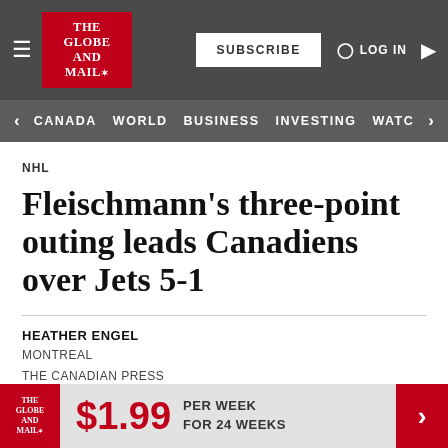The Globe and Mail - SUBSCRIBE | LOG IN
CANADA | WORLD | BUSINESS | INVESTING | WATC
NHL
Fleischmann's three-point outing leads Canadiens over Jets 5-1
HEATHER ENGEL
MONTREAL
THE CANADIAN PRESS
PUBLISHED NOVEMBER 1, 2015
[Figure (infographic): Advertisement banner: The Globe and Mail logo, $1.99 PER WEEK FOR 24 WEEKS]